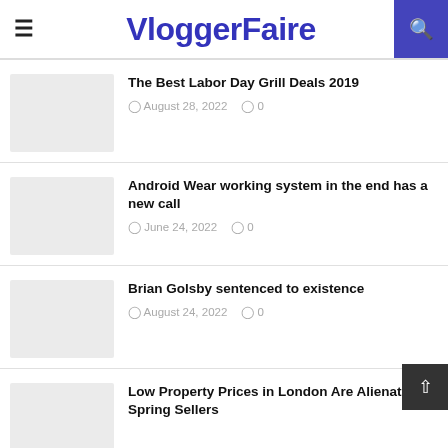VloggerFaire
The Best Labor Day Grill Deals 2019 — August 28, 2022  0
Android Wear working system in the end has a new call — June 24, 2022  0
Brian Golsby sentenced to existence — August 24, 2022  0
Low Property Prices in London Are Alienating Spring Sellers